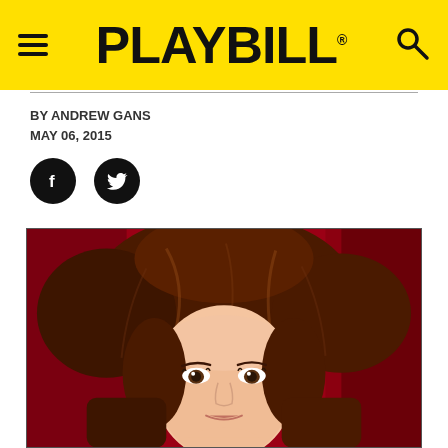PLAYBILL
BY ANDREW GANS
MAY 06, 2015
[Figure (photo): Headshot of a woman with voluminous auburn/brown hair against a red background, facing the camera]
[Figure (logo): Facebook social share button (black circle with white f icon)]
[Figure (logo): Twitter social share button (black circle with white bird icon)]